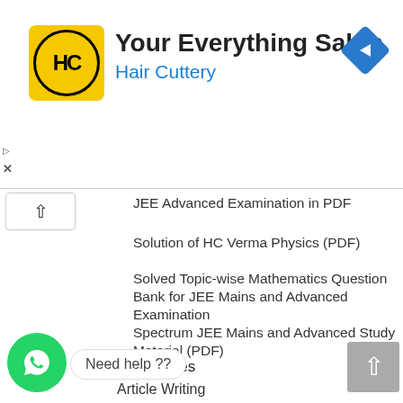[Figure (logo): Hair Cuttery advertisement banner with HC logo, 'Your Everything Salon' title, 'Hair Cuttery' subtitle in blue, and a navigation arrow icon]
JEE Advanced Examination in PDF
Solution of HC Verma Physics (PDF)
Solved Topic-wise Mathematics Question Bank for JEE Mains and Advanced Examination
Spectrum JEE Mains and Advanced Study Material (PDF)
Digital Services
Article Writing
Bulk SMS Services
Logo Designing
Mobile Apps Development
Online Examination System
Search Engine Optimization
Software Development